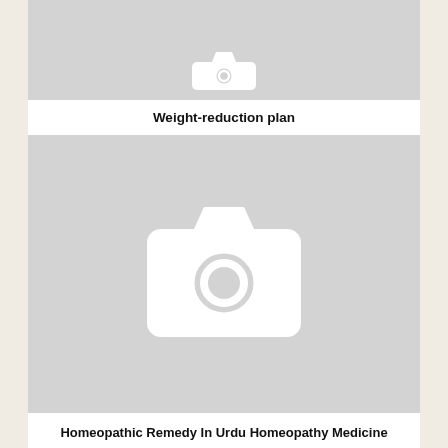[Figure (photo): Placeholder image with camera icon (top, partially visible)]
Weight-reduction plan
[Figure (photo): Placeholder image with camera icon (large, center)]
Homeopathic Remedy In Urdu Homeopathy Medicine Encyclopedia Homeopathic Ka Ilaj ~ Urdu Which means Footage Hindi
[Figure (photo): Placeholder image (bottom, partially visible)]